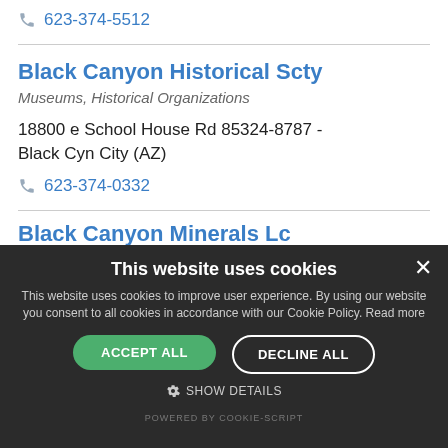623-374-5512
Black Canyon Historical Scty
Museums, Historical Organizations
18800 e School House Rd 85324-8787 - Black Cyn City (AZ)
623-374-0332
Black Canyon Minerals Lc
This website uses cookies
This website uses cookies to improve user experience. By using our website you consent to all cookies in accordance with our Cookie Policy. Read more
ACCEPT ALL
DECLINE ALL
SHOW DETAILS
POWERED BY COOKIE-SCRIPT